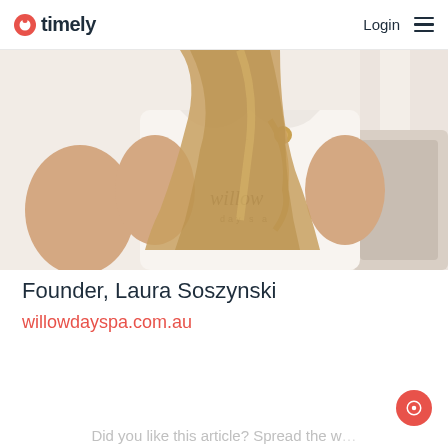timely | Login
[Figure (photo): A woman with long blonde hair sitting in a chair, wearing a white t-shirt with 'willow' script text and carrying a gold/tan bag. Photo is cropped to show torso area only, light background.]
Founder, Laura Soszynski
willowdayspa.com.au
Did you like this article? Spread the word